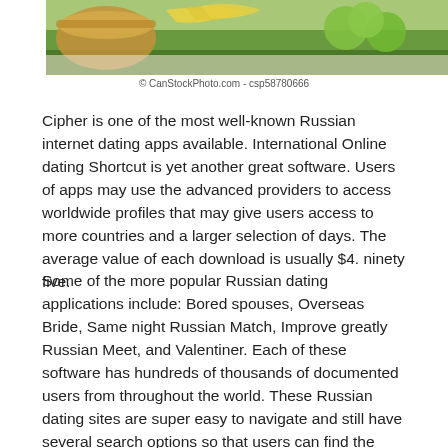[Figure (photo): Partial view of a picnic scene with a wicker basket, bananas, green apples, and grass in the background]
© CanStockPhoto.com - csp58780666
Cipher is one of the most well-known Russian internet dating apps available. International Online dating Shortcut is yet another great software. Users of apps may use the advanced providers to access worldwide profiles that may give users access to more countries and a larger selection of days. The average value of each download is usually $4. ninety five.
Some of the more popular Russian dating applications include: Bored spouses, Overseas Bride, Same night Russian Match, Improve greatly Russian Meet, and Valentiner. Each of these software has hundreds of thousands of documented users from throughout the world. These Russian dating sites are super easy to navigate and still have several search options so that users can find the person they are simply interested in without difficulty. Once a consumer has found their particular dream spouse they can make their own profile